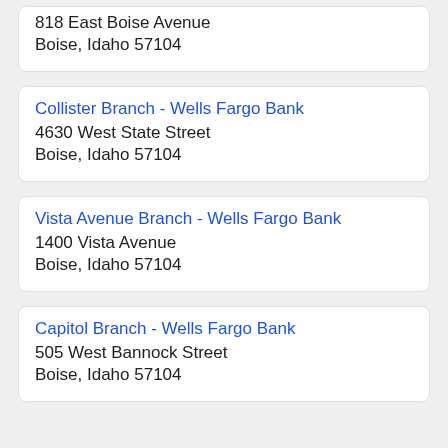818 East Boise Avenue
Boise, Idaho 57104
Collister Branch - Wells Fargo Bank
4630 West State Street
Boise, Idaho 57104
Vista Avenue Branch - Wells Fargo Bank
1400 Vista Avenue
Boise, Idaho 57104
Capitol Branch - Wells Fargo Bank
505 West Bannock Street
Boise, Idaho 57104